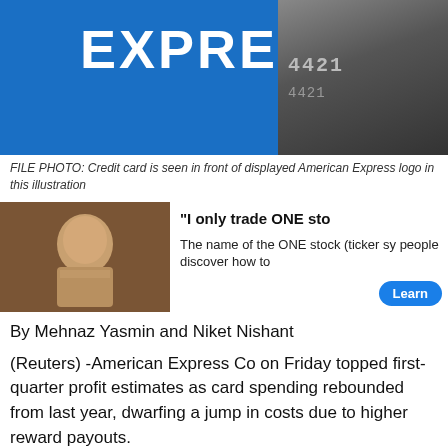[Figure (photo): American Express logo in blue with credit card numbers visible on the right side]
FILE PHOTO: Credit card is seen in front of displayed American Express logo in this illustration
[Figure (photo): Advertisement showing a man in a suit gesturing, with text about trading one stock]
By Mehnaz Yasmin and Niket Nishant
(Reuters) -American Express Co on Friday topped first-quarter profit estimates as card spending rebounded from last year, dwarfing a jump in costs due to higher reward payouts.